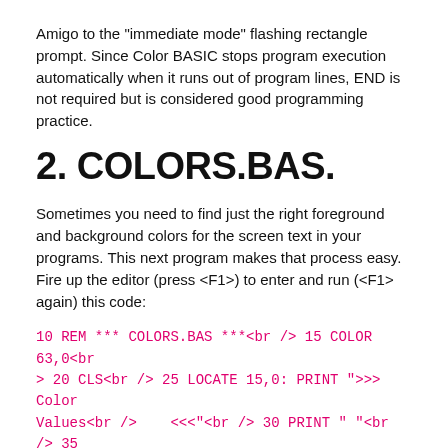Amigo to the "immediate mode" flashing rectangle prompt. Since Color BASIC stops program execution automatically when it runs out of program lines, END is not required but is considered good programming practice.
2. COLORS.BAS.
Sometimes you need to find just the right foreground and background colors for the screen text in your programs. This next program makes that process easy. Fire up the editor (press <F1>) to enter and run (<F1> again) this code:
10 REM *** COLORS.BAS ***<br /> 15 COLOR 63,0<br /> 20 CLS<br /> 25 LOCATE 15,0: PRINT ">>> Color Values<br />    <<<"<br /> 30 PRINT " "<br /> 35 REM -- FOR/NEXT Loop Shows Colors --<br /> 40 FOR C=0 TO 63<br /> 45 COLOR C,0<br /> 50 PRINT C,<br /> 55 NEXT C<br /> 60 REM -- Get Colors: Print